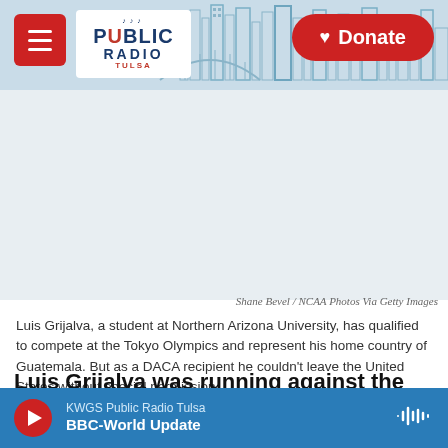Public Radio Tulsa – Donate
[Figure (photo): Empty image placeholder area above article, credit: Shane Bevel / NCAA Photos Via Getty Images]
Shane Bevel / NCAA Photos Via Getty Images
Luis Grijalva, a student at Northern Arizona University, has qualified to compete at the Tokyo Olympics and represent his home country of Guatemala. But as a DACA recipient he couldn't leave the United States without special permission.
Luis Grijalva was running against the clock — but this time it wasn't on a track.
KWGS Public Radio Tulsa – BBC-World Update